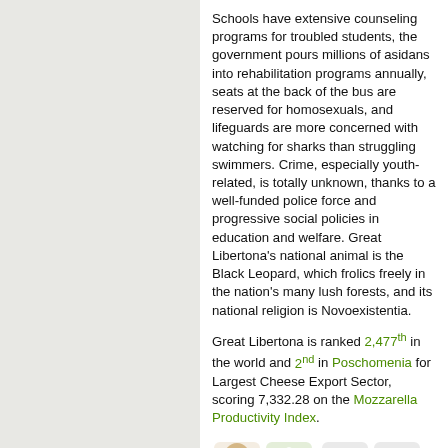Schools have extensive counseling programs for troubled students, the government pours millions of asidans into rehabilitation programs annually, seats at the back of the bus are reserved for homosexuals, and lifeguards are more concerned with watching for sharks than struggling swimmers. Crime, especially youth-related, is totally unknown, thanks to a well-funded police force and progressive social policies in education and welfare. Great Libertona's national animal is the Black Leopard, which frolics freely in the nation's many lush forests, and its national religion is Novoexistentia.
Great Libertona is ranked 2,477th in the world and 2nd in Poschomenia for Largest Cheese Export Sector, scoring 7,332.28 on the Mozzarella Productivity Index.
[Figure (illustration): Row of small icons partially visible at the bottom of the page]